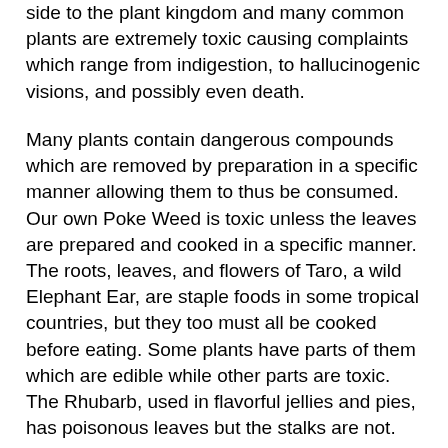side to the plant kingdom and many common plants are extremely toxic causing complaints which range from indigestion, to hallucinogenic visions, and possibly even death.
Many plants contain dangerous compounds which are removed by preparation in a specific manner allowing them to thus be consumed. Our own Poke Weed is toxic unless the leaves are prepared and cooked in a specific manner. The roots, leaves, and flowers of Taro, a wild Elephant Ear, are staple foods in some tropical countries, but they too must all be cooked before eating. Some plants have parts of them which are edible while other parts are toxic. The Rhubarb, used in flavorful jellies and pies, has poisonous leaves but the stalks are not. Almost all flowering bulbs are toxic in some manner so do not allow pets to ingest any of them.
The following plants are listed as fatal, making them of particular import. The lovely Larkspur is so toxic that it was used during the Revolutionary War as a pesticide; soldiers stuffed their boots with it to repel mites and ticks. Oddly, the same berries of the plant are classified as one of fatal in...